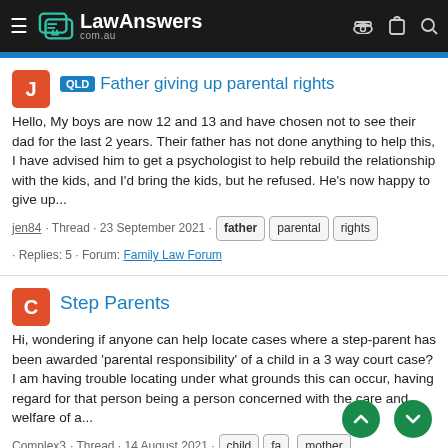LawAnswers com.au
Father giving up parental rights
Hello, My boys are now 12 and 13 and have chosen not to see their dad for the last 2 years. Their father has not done anything to help this, I have advised him to get a psychologist to help rebuild the relationship with the kids, and I'd bring the kids, but he refused. He's now happy to give up...
jen84 · Thread · 23 September 2021 · father · parental · rights · Replies: 5 · Forum: Family Law Forum
Step Parents
Hi, wondering if anyone can help locate cases where a step-parent has been awarded 'parental responsibility' of a child in a 3 way court case? I am having trouble locating under what grounds this can occur, having regard for that person being a person concerned with the care and welfare of a...
Complex3 · Thread · 14 August 2021 · child · fa... · mother · Replies: 8 · Forum: Family Law Forum